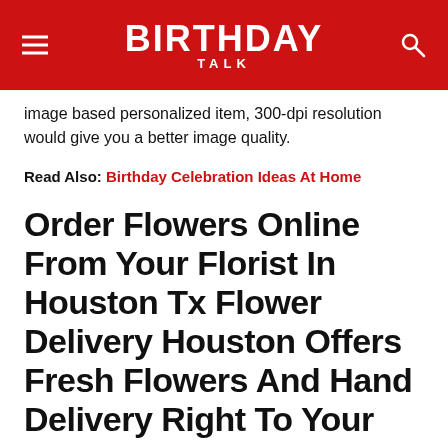BIRTHDAY TALK
image based personalized item, 300-dpi resolution would give you a better image quality.
Read Also: Birthday Celebration Ideas At Home
Order Flowers Online From Your Florist In Houston Tx Flower Delivery Houston Offers Fresh Flowers And Hand Delivery Right To Your Door In Houston
Flower Delivery Houston – A Trusted Houston Florist
For the perfect flower arrangement, look no further than Flower Delivery